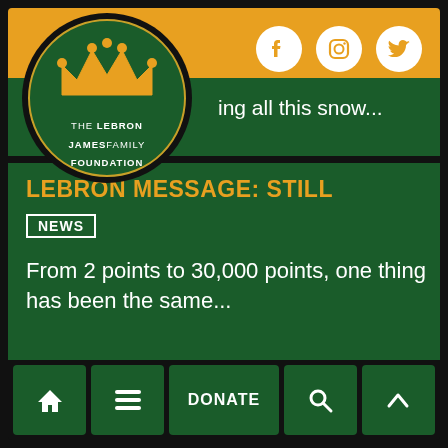[Figure (logo): The LeBron James Family Foundation circular logo on gold background with social media icons (Facebook, Instagram, Twitter)]
ing all this snow...
LEBRON MESSAGE: STILL
NEWS
From 2 points to 30,000 points, one thing has been the same...
Home | Menu | DONATE | Search | Up